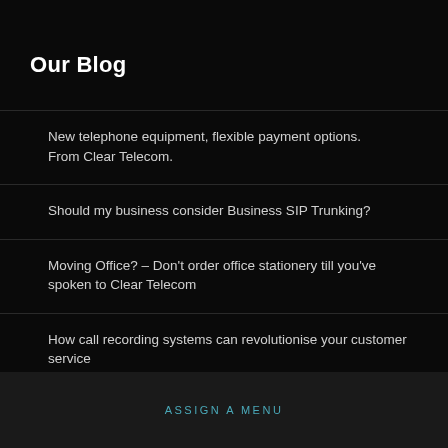Our Blog
New telephone equipment, flexible payment options. From Clear Telecom.
Should my business consider Business SIP Trunking?
Moving Office? – Don't order office stationery till you've spoken to Clear Telecom
How call recording systems can revolutionise your customer service
ASSIGN A MENU